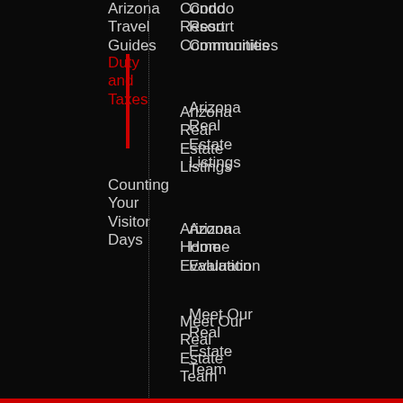Arizona Travel Guides
Duty and Taxes
Counting Your Visitor Days
Condo Resort Communities
Arizona Real Estate Listings
Arizona Home Evaluation
Meet Our Real Estate Team
Arizona Real Estate News